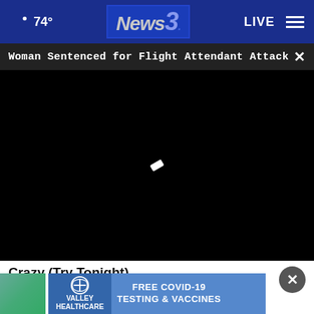74° News3. LIVE
Woman Sentenced for Flight Attendant Attack
[Figure (screenshot): Black video player area with a small white loading indicator in the center]
Crazy (Try Tonight)
Rejuvelift
[Figure (screenshot): Valley Healthcare ad banner: FREE COVID-19 TESTING & VACCINES]